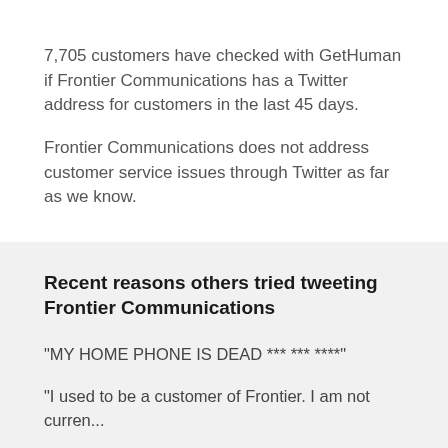7,705 customers have checked with GetHuman if Frontier Communications has a Twitter address for customers in the last 45 days.
Frontier Communications does not address customer service issues through Twitter as far as we know.
Recent reasons others tried tweeting Frontier Communications
"MY HOME PHONE IS DEAD *** *** ****"
"I used to be a customer of Frontier. I am not curren...